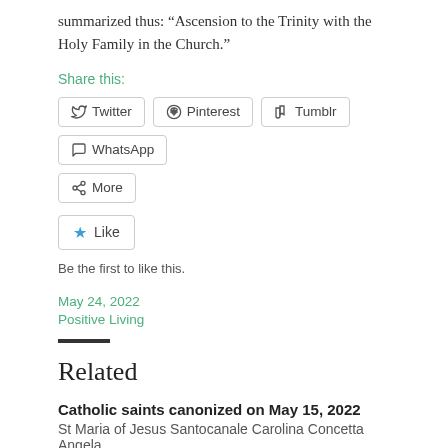summarized thus: “Ascension to the Trinity with the Holy Family in the Church.”
Share this:
[Figure (other): Social share buttons: Twitter, Pinterest, Tumblr, WhatsApp, More]
[Figure (other): Like button]
Be the first to like this.
May 24, 2022
Positive Living
Related
Catholic saints canonized on May 15, 2022
St Maria of Jesus Santocanale Carolina Concetta Angela